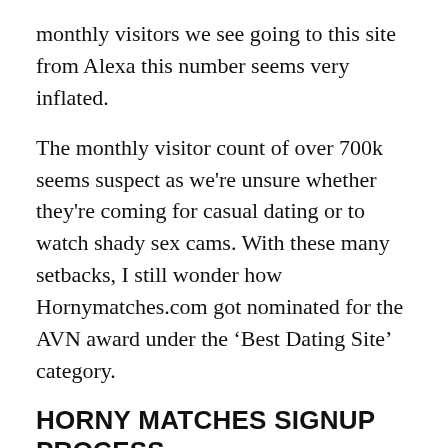monthly visitors we see going to this site from Alexa this number seems very inflated.
The monthly visitor count of over 700k seems suspect as we're unsure whether they're coming for casual dating or to watch shady sex cams. With these many setbacks, I still wonder how Hornymatches.com got nominated for the AVN award under the 'Best Dating Site' category.
HORNY MATCHES SIGNUP PROCESS
It would be surprising if it ain't ring any bells for you after looking at the signup process of this horny dating site. Yeah, it isn't playing nice and you can tell that just by looking at the foul signup page. However,